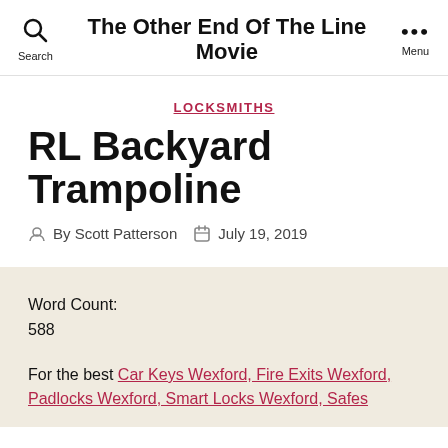Search  The Other End Of The Line Movie  Menu
LOCKSMITHS
RL Backyard Trampoline
By Scott Patterson  July 19, 2019
Word Count:
588
For the best Car Keys Wexford, Fire Exits Wexford, Padlocks Wexford, Smart Locks Wexford, Safes